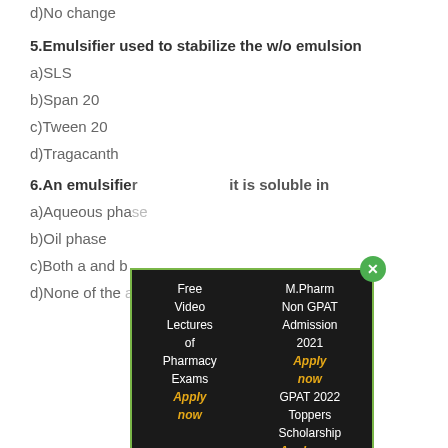d)No change
5.Emulsifier used to stabilize the w/o emulsion
a)SLS
b)Span 20
c)Tween 20
d)Tragacanth
6.An emulsifier ... it is soluble in
a)Aqueous phase
b)Oil phase
c)Both a and b
d)None of the above
[Figure (infographic): Popup advertisement overlay with dark background and green border. Left column: 'Free Video Lectures of Pharmacy Exams Apply now'. Right column: 'M.Pharm Non GPAT Admission 2021 Apply now GPAT 2022 Toppers Scholarship Apply now'. Green close button with X in top right corner.]